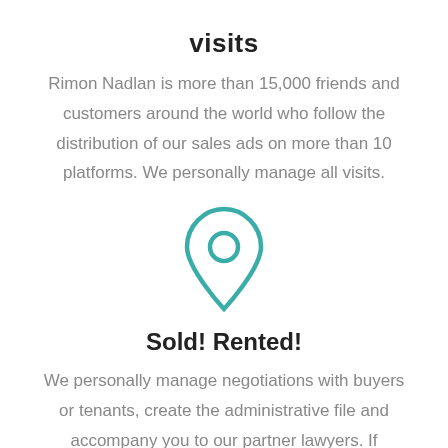visits
Rimon Nadlan is more than 15,000 friends and customers around the world who follow the distribution of our sales ads on more than 10 platforms. We personally manage all visits.
[Figure (illustration): A teal/green location pin icon with a circle in the center, outline style.]
Sold! Rented!
We personally manage negotiations with buyers or tenants, create the administrative file and accompany you to our partner lawyers. If necessary, the contracts will be